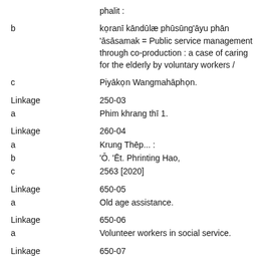phalit :
b   kọranī kāndūlæ phūsūng'āyu phān 'āsāsamak = Public service management through co-production : a case of caring for the elderly by voluntary workers /
c   Piyākọn Wangmahāphọn.
Linkage   250-03
a   Phim khrang thī 1.
Linkage   260-04
a   Krung Thēp... :
b   'Ō. 'Ēt. Phrinting Hao,
c   2563 [2020]
Linkage   650-05
a   Old age assistance.
Linkage   650-06
a   Volunteer workers in social service.
Linkage   650-07